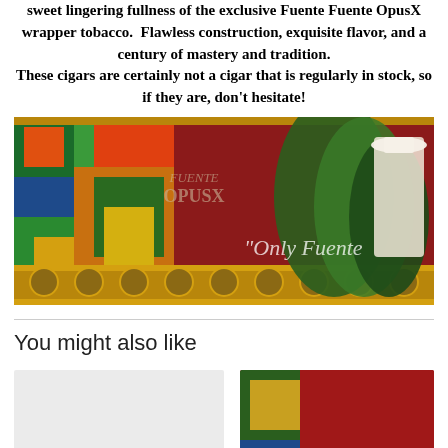sweet lingering fullness of the exclusive Fuente Fuente OpusX wrapper tobacco.  Flawless construction, exquisite flavor, and a century of mastery and tradition. These cigars are certainly not a cigar that is regularly in stock, so if they are, don't hesitate!
[Figure (photo): Fuente Fuente OpusX promotional banner image with colorful artwork, logo, and a man in a white hat holding tobacco leaves with the text 'Only Fuente']
You might also like
[Figure (photo): Placeholder image for Arturo Fuente Hemingway Short Story product]
Arturo Fuente Hemingway Short Story
[Figure (photo): Partial product image visible at right edge]